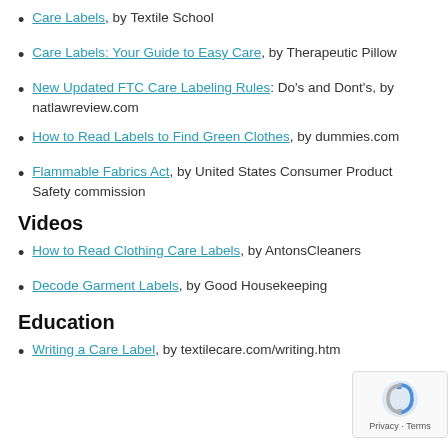Care Labels, by Textile School
Care Labels: Your Guide to Easy Care, by Therapeutic Pillow
New Updated FTC Care Labeling Rules: Do's and Dont's, by natlawreview.com
How to Read Labels to Find Green Clothes, by dummies.com
Flammable Fabrics Act, by United States Consumer Product Safety commission
Videos
How to Read Clothing Care Labels, by AntonsCleaners
Decode Garment Labels, by Good Housekeeping
Education
Writing a Care Label, by textilecare.com/writing.htm